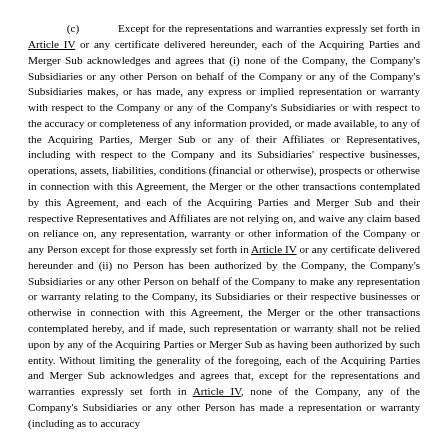(c) Except for the representations and warranties expressly set forth in Article IV or any certificate delivered hereunder, each of the Acquiring Parties and Merger Sub acknowledges and agrees that (i) none of the Company, the Company's Subsidiaries or any other Person on behalf of the Company or any of the Company's Subsidiaries makes, or has made, any express or implied representation or warranty with respect to the Company or any of the Company's Subsidiaries or with respect to the accuracy or completeness of any information provided, or made available, to any of the Acquiring Parties, Merger Sub or any of their Affiliates or Representatives, including with respect to the Company and its Subsidiaries' respective businesses, operations, assets, liabilities, conditions (financial or otherwise), prospects or otherwise in connection with this Agreement, the Merger or the other transactions contemplated by this Agreement, and each of the Acquiring Parties and Merger Sub and their respective Representatives and Affiliates are not relying on, and waive any claim based on reliance on, any representation, warranty or other information of the Company or any Person except for those expressly set forth in Article IV or any certificate delivered hereunder and (ii) no Person has been authorized by the Company, the Company's Subsidiaries or any other Person on behalf of the Company to make any representation or warranty relating to the Company, its Subsidiaries or their respective businesses or otherwise in connection with this Agreement, the Merger or the other transactions contemplated hereby, and if made, such representation or warranty shall not be relied upon by any of the Acquiring Parties or Merger Sub as having been authorized by such entity. Without limiting the generality of the foregoing, each of the Acquiring Parties and Merger Sub acknowledges and agrees that, except for the representations and warranties expressly set forth in Article IV, none of the Company, any of the Company's Subsidiaries or any other Person has made a representation or warranty (including as to accuracy...